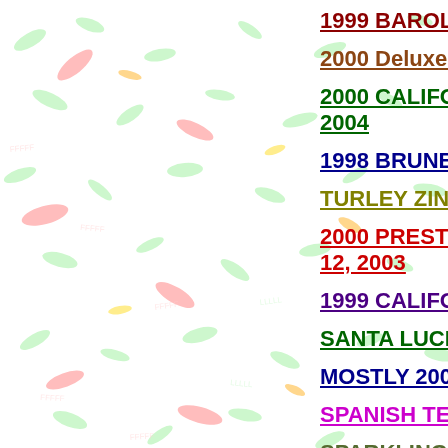[Figure (illustration): Decorative background with scattered colorful wine/grape leaf motifs in red, green, orange, yellow on white background]
1999 BAROLO Ma...
2000 Deluxe Napa...
2000 CALIFORNIA... 2004
1998 BRUNELLO ...
TURLEY ZINFAND...
2000 PRESTIGIOUS... 12, 2003
1999 CALIFORNIA...
SANTA LUCIA HIG...
MOSTLY 2001 VIN...
SPANISH TEMPRA...
SPARKLING WINE... 2003
1996 (Mostly) AUS...